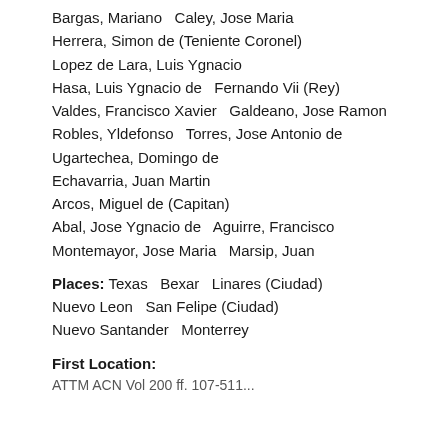Bargas, Mariano   Caley, Jose Maria
Herrera, Simon de (Teniente Coronel)
Lopez de Lara, Luis Ygnacio
Hasa, Luis Ygnacio de   Fernando Vii (Rey)
Valdes, Francisco Xavier   Galdeano, Jose Ramon
Robles, Yldefonso   Torres, Jose Antonio de
Ugartechea, Domingo de
Echavarria, Juan Martin
Arcos, Miguel de (Capitan)
Abal, Jose Ygnacio de   Aguirre, Francisco
Montemayor, Jose Maria   Marsip, Juan
Places: Texas   Bexar   Linares (Ciudad)   Nuevo Leon   San Felipe (Ciudad)   Nuevo Santander   Monterrey
First Location:
ATTM ACN Vol 200 ff. 107-511...